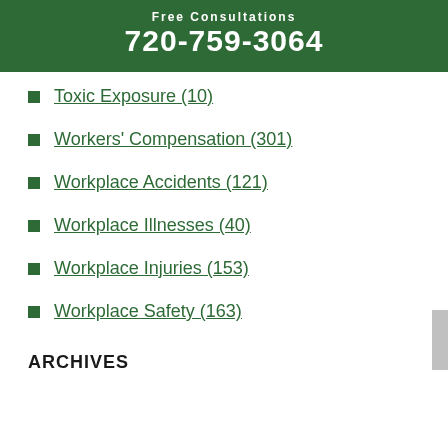Free Consultations
720-759-3064
Toxic Exposure (10)
Workers' Compensation (301)
Workplace Accidents (121)
Workplace Illnesses (40)
Workplace Injuries (153)
Workplace Safety (163)
ARCHIVES